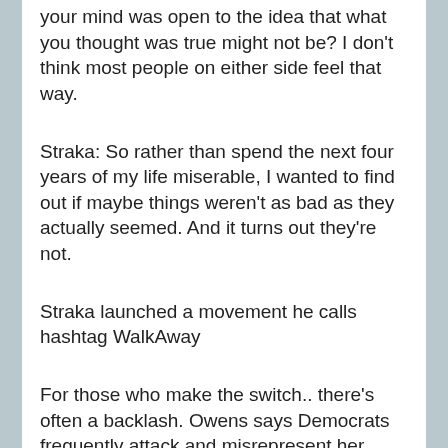your mind was open to the idea that what you thought was true might not be? I don't think most people on either side feel that way.
Straka: So rather than spend the next four years of my life miserable, I wanted to find out if maybe things weren't as bad as they actually seemed. And it turns out they're not.
Straka launched a movement he calls hashtag WalkAway
For those who make the switch.. there's often a backlash. Owens says Democrats frequently attack and misrepresent her. This video clip, where she fires back at a Congressional hearing, has about 4 million views online.